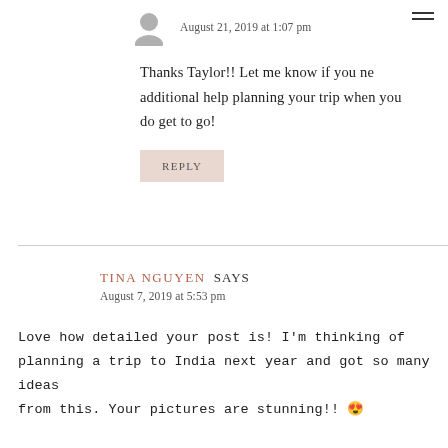August 21, 2019 at 1:07 pm
Thanks Taylor!! Let me know if you ne additional help planning your trip when you do get to go!
REPLY
TINA NGUYEN SAYS
August 7, 2019 at 5:53 pm
Love how detailed your post is! I'm thinking of planning a trip to India next year and got so many ideas from this. Your pictures are stunning!! 😍